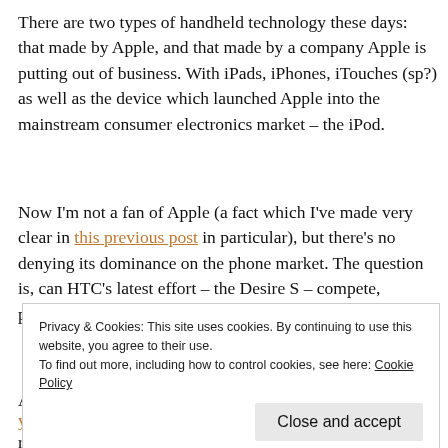There are two types of handheld technology these days: that made by Apple, and that made by a company Apple is putting out of business. With iPads, iPhones, iTouches (sp?) as well as the device which launched Apple into the mainstream consumer electronics market – the iPod.
Now I'm not a fan of Apple (a fact which I've made very clear in this previous post in particular), but there's no denying its dominance on the phone market. The question is, can HTC's latest effort – the Desire S – compete, particularly with a new iPhone already in the works.
Privacy & Cookies: This site uses cookies. By continuing to use this website, you agree to their use.
To find out more, including how to control cookies, see here: Cookie Policy
rumours of its arrival in July, but no concrete details have been